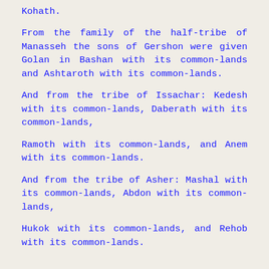Kohath.
From the family of the half-tribe of Manasseh the sons of Gershon were given Golan in Bashan with its common-lands and Ashtaroth with its common-lands.
And from the tribe of Issachar: Kedesh with its common-lands, Daberath with its common-lands,
Ramoth with its common-lands, and Anem with its common-lands.
And from the tribe of Asher: Mashal with its common-lands, Abdon with its common-lands,
Hukok with its common-lands, and Rehob with its common-lands.